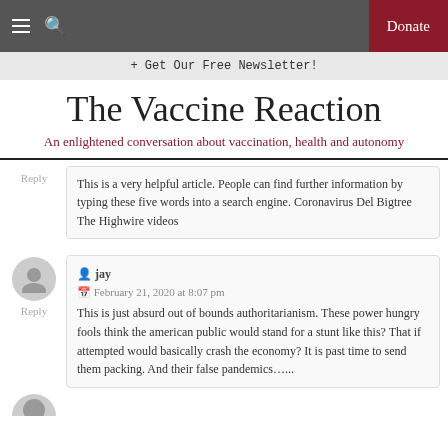The Vaccine Reaction — navbar with hamburger menu, search, Donate button
+ Get Our Free Newsletter!
The Vaccine Reaction
An enlightened conversation about vaccination, health and autonomy
This is a very helpful article. People can find further information by typing these five words into a search engine. Coronavirus Del Bigtree The Highwire videos
jay
February 21, 2020 at 8:07 pm
This is just absurd out of bounds authoritarianism. These power hungry fools think the american public would stand for a stunt like this? That if attempted would basically crash the economy? It is past time to send them packing. And their false pandemics…...